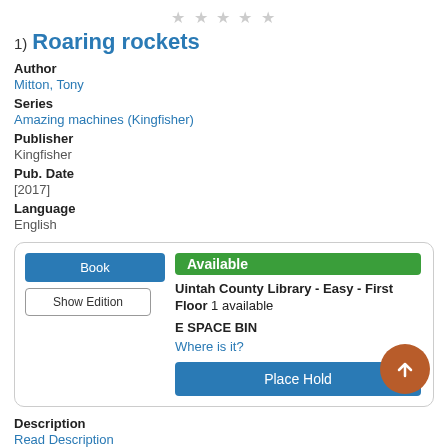1) Roaring rockets
Author
Mitton, Tony
Series
Amazing machines (Kingfisher)
Publisher
Kingfisher
Pub. Date
[2017]
Language
English
Available
Uintah County Library - Easy - First Floor  1 available
E SPACE BIN
Where is it?
Place Hold
Description
Read Description